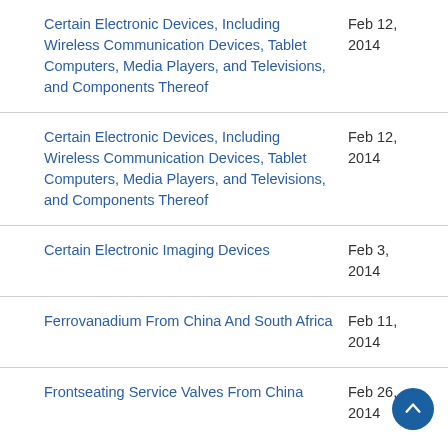Certain Electronic Devices, Including Wireless Communication Devices, Tablet Computers, Media Players, and Televisions, and Components Thereof — Feb 12, 2014
Certain Electronic Devices, Including Wireless Communication Devices, Tablet Computers, Media Players, and Televisions, and Components Thereof — Feb 12, 2014
Certain Electronic Imaging Devices — Feb 3, 2014
Ferrovanadium From China And South Africa — Feb 11, 2014
Frontseating Service Valves From China — Feb 26, 2014